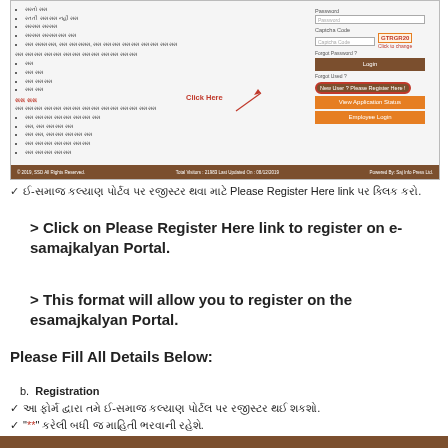[Figure (screenshot): Screenshot of e-samajkalyan portal login page showing password field, captcha code, login button, forgot user ID link, Please Register Here link (highlighted with red oval), View Application Status button, and Employee Login button. Red arrow points to register link with 'Click Here' label.]
ઈ-સમાજ કલ્યાણ પોર્ટવ પર રજીસ્ટર થવા માટે Please Register Here link પર ક્લિક કરો.
> Click on Please Register Here link to register on e-samajkalyan Portal.
> This format will allow you to register on the esamajkalyan Portal.
Please Fill All Details Below:
b. Registration
આ ફોર્મ દ્વારા તમે ઈ-સમાજ કલ્યાણ પોર્ટલ પર રજીસ્ટર થઈ શકશો.
"**" કરેલી બધી જ માહિતી ભરવાની રહેશે.